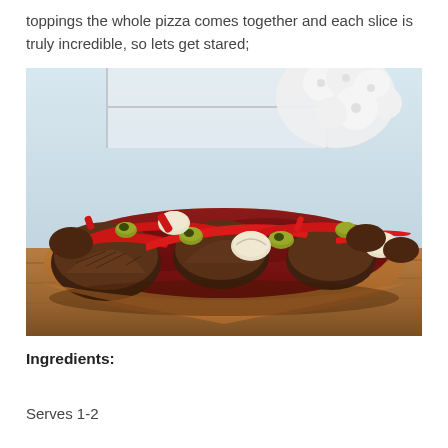toppings the whole pizza comes together and each slice is truly incredible, so lets get stared;
[Figure (photo): Close-up photo of a homemade pizza topped with red peppers, mushrooms, olives, and other vegetables, sitting on a wooden surface with white flowers visible in the background.]
Ingredients:
Serves 1-2